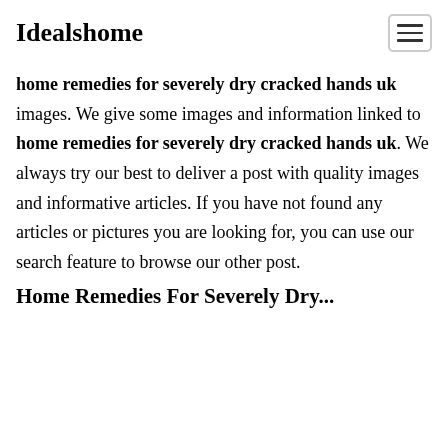Idealshome
home remedies for severely dry cracked hands uk images. We give some images and information linked to home remedies for severely dry cracked hands uk. We always try our best to deliver a post with quality images and informative articles. If you have not found any articles or pictures you are looking for, you can use our search feature to browse our other post.
Home Remedies For Severely Dry...